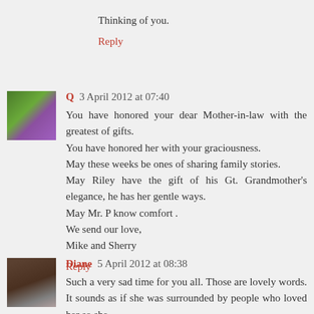Thinking of you.
Reply
Q  3 April 2012 at 07:40
You have honored your dear Mother-in-law with the greatest of gifts.
You have honored her with your graciousness.
May these weeks be ones of sharing family stories.
May Riley have the gift of his Gt. Grandmother's elegance, he has her gentle ways.
May Mr. P know comfort .
We send our love,
Mike and Sherry
Reply
Diane  5 April 2012 at 08:38
Such a very sad time for you all. Those are lovely words. It sounds as if she was surrounded by people who loved her so she